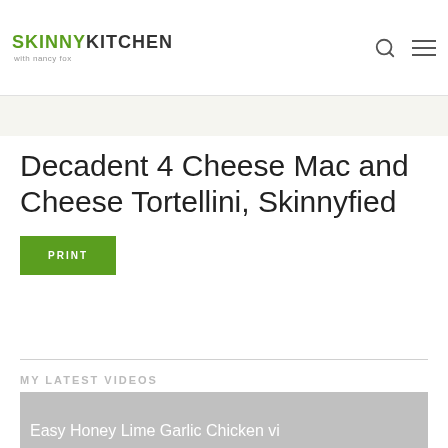SKINNY KITCHEN with nancy fox
Decadent 4 Cheese Mac and Cheese Tortellini, Skinnyfied
PRINT
MY LATEST VIDEOS
Easy Honey Lime Garlic Chicken vi